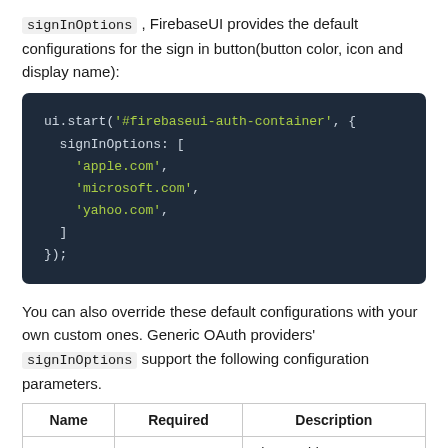signInOptions , FirebaseUI provides the default configurations for the sign in button(button color, icon and display name):
[Figure (screenshot): Code block showing ui.start('#firebaseui-auth-container', { signInOptions: ['apple.com', 'microsoft.com', 'yahoo.com'] });]
You can also override these default configurations with your own custom ones. Generic OAuth providers' signInOptions support the following configuration parameters.
| Name | Required | Description |
| --- | --- | --- |
|  |  | The provider ID |